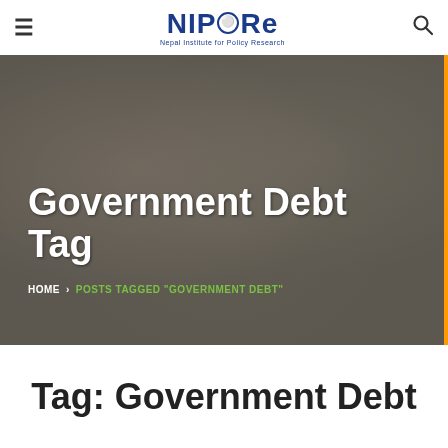NIPRe — Nepal Institute for Policy Research navigation header with hamburger menu and search icon
[Figure (photo): Grayscale photo of smiling children used as hero banner background]
Government Debt Tag
HOME › POSTS TAGGED "GOVERNMENT DEBT"
Tag: Government Debt